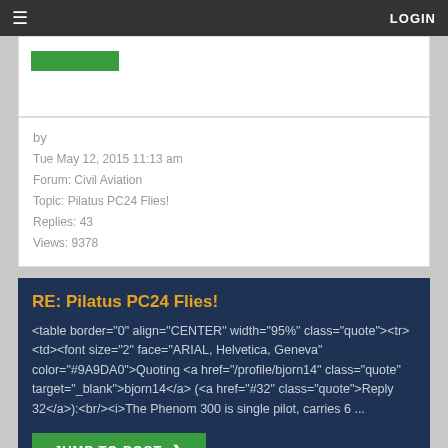LOGIN
[Figure (screenshot): Green 'JUMP TO POST' button (partial, top card)]
by
Tue May 12, 2015 11:13 am
Forum: Civil Aviation
Topic: Pilatus PC24 Flies!
Replies: 43
Views: 9378
RE: Pilatus PC24 Flies!
<table border="0" align="CENTER" width="95%" class="quote"><tr><td><font size="2" face="ARIAL, Helvetica, Geneva" color="#9A9DA0">Quoting <a href="/profile/bjorn14" class="quote" target="_blank">bjorn14</a> (<a href="#32" class="quote">Reply 32</a>):<br/><i>The Phenom 300 is single pilot, carries 6 ...
JUMP TO POST
by
Mon May 11, 2015 11:25 am
Forum: Civil Aviation
Topic: Pilatus PC24 Flies!
Replies: 43
Views: 9378